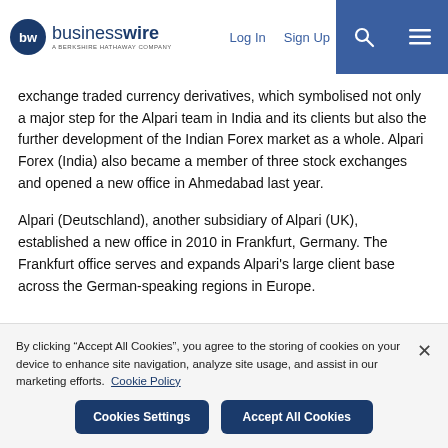businesswire — a Berkshire Hathaway Company | Log In | Sign Up
exchange traded currency derivatives, which symbolised not only a major step for the Alpari team in India and its clients but also the further development of the Indian Forex market as a whole. Alpari Forex (India) also became a member of three stock exchanges and opened a new office in Ahmedabad last year.
Alpari (Deutschland), another subsidiary of Alpari (UK), established a new office in 2010 in Frankfurt, Germany. The Frankfurt office serves and expands Alpari's large client base across the German-speaking regions in Europe.
By clicking “Accept All Cookies”, you agree to the storing of cookies on your device to enhance site navigation, analyze site usage, and assist in our marketing efforts. Cookie Policy